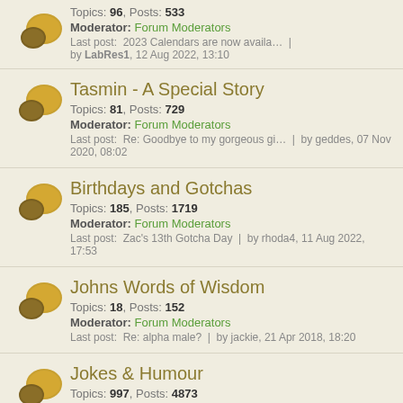Topics: 96, Posts: 533 | Moderator: Forum Moderators | Last post: 2023 Calendars are now availa... | by LabRes1, 12 Aug 2022, 13:10
Tasmin - A Special Story | Topics: 81, Posts: 729 | Moderator: Forum Moderators | Last post: Re: Goodbye to my gorgeous gi... | by geddes, 07 Nov 2020, 08:02
Birthdays and Gotchas | Topics: 185, Posts: 1719 | Moderator: Forum Moderators | Last post: Zac's 13th Gotcha Day | by rhoda4, 11 Aug 2022, 17:53
Johns Words of Wisdom | Topics: 18, Posts: 152 | Moderator: Forum Moderators | Last post: Re: alpha male? | by jackie, 21 Apr 2018, 18:20
Jokes & Humour | Topics: 997, Posts: 4873 | Moderator: Forum Moderators | Last post: Re: Financial Planning & the ... | by Glenys, 18 Jan 2020, 14:18